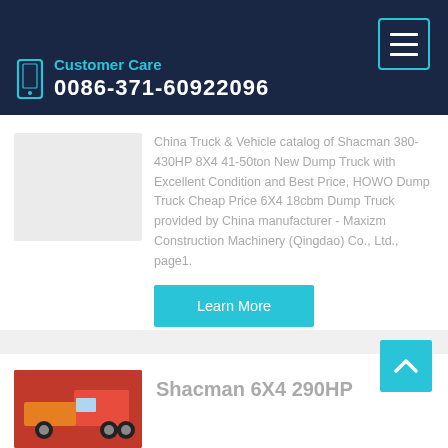Customer Care
0086-371-60922096
China Truck & Vehicle catalog of Shacman 380-430HP 8X4 41-50ton New Dump Truck with Excellent Condition and Best Price, HOWO Dump Truck Cheap Price 6X4 18cbm Dump Truck provided by China manufacturer - Maxizm Construction Machinery (Qingdao) Co., Ltd., page1.
Learn More
Shacman 6X4 290HP